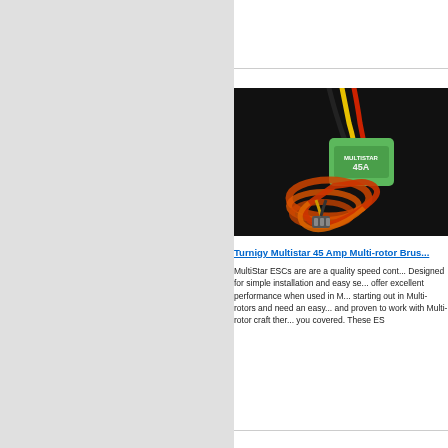[Figure (photo): Turnigy Multistar 45 Amp Multi-rotor Brushless ESC with colorful wires (red, yellow, black) coiled around the green circuit board unit on a black background]
Turnigy Multistar 45 Amp Multi-rotor Brus...
MultiStar ESCs are are a quality speed cont... Designed for simple installation and easy se... offer excellent performance when used in M... starting out in Multi-rotors and need an easy... and proven to work with Multi-rotor craft ther... you covered. These ES